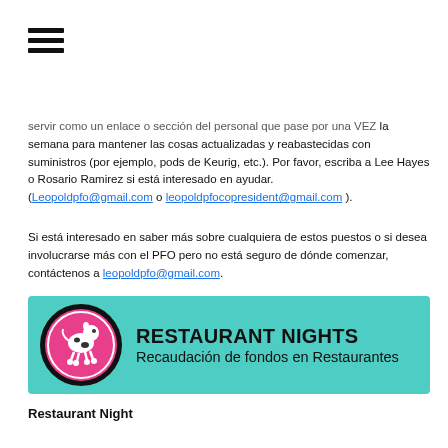[Figure (other): Hamburger menu icon (three horizontal lines)]
servir como un enlace o sección del personal que pase por una VEZ la semana para mantener las cosas actualizadas y reabastecidas con suministros (por ejemplo, pods de Keurig, etc.). Por favor, escriba a Lee Hayes o Rosario Ramirez si está interesado en ayudar. (Leopoldpfo@gmail.com o leopoldpfocopresident@gmail.com ).
Si está interesado en saber más sobre cualquiera de estos puestos o si desea involucrarse más con el PFO pero no está seguro de dónde comenzar, contáctenos a leopoldpfo@gmail.com.
[Figure (infographic): Teal banner with circular logo (pink circle with illustrated cow on roller skates) and bold text 'RESTAURANT NIGHTS' with subtitle 'Recaudación de fondos en Restaurantes']
Restaurant Night